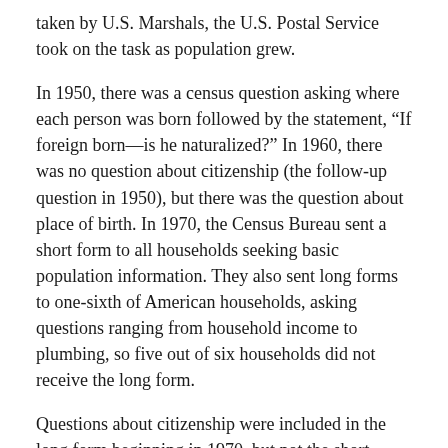taken by U.S. Marshals, the U.S. Postal Service took on the task as population grew.
In 1950, there was a census question asking where each person was born followed by the statement, “If foreign born—is he naturalized?” In 1960, there was no question about citizenship (the follow-up question in 1950), but there was the question about place of birth. In 1970, the Census Bureau sent a short form to all households seeking basic population information. They also sent long forms to one-sixth of American households, asking questions ranging from household income to plumbing, so five out of six households did not receive the long form.
Questions about citizenship were included in the long form beginning in 1970, but not the short form. For example, in 2000, citizens who received the long form were asked, “Is this person a CITIZEN of the United States?”